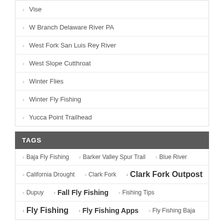Vise
W Branch Delaware River PA
West Fork San Luis Rey River
West Slope Cutthroat
Winter Flies
Winter Fly Fishing
Yucca Point Trailhead
TAGS
Baja Fly Fishing   Barker Valley Spur Trail   Blue River
California Drought   Clark Fork   Clark Fork Outpost
Dupuy   Fall Fly Fishing   Fishing Tips
Fly Fishing   Fly Fishing Apps   Fly Fishing Baja